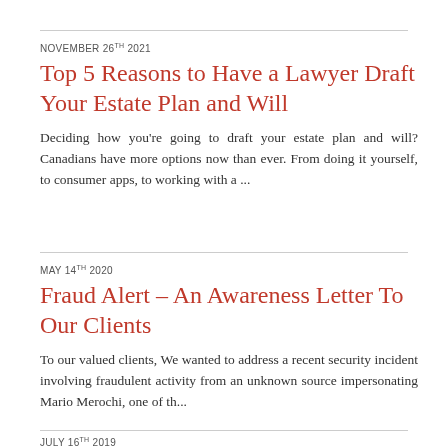NOVEMBER 26TH 2021
Top 5 Reasons to Have a Lawyer Draft Your Estate Plan and Will
Deciding how you're going to draft your estate plan and will? Canadians have more options now than ever. From doing it yourself, to consumer apps, to working with a ...
MAY 14TH 2020
Fraud Alert – An Awareness Letter To Our Clients
To our valued clients, We wanted to address a recent security incident involving fraudulent activity from an unknown source impersonating Mario Merochi, one of th...
JULY 16TH 2019